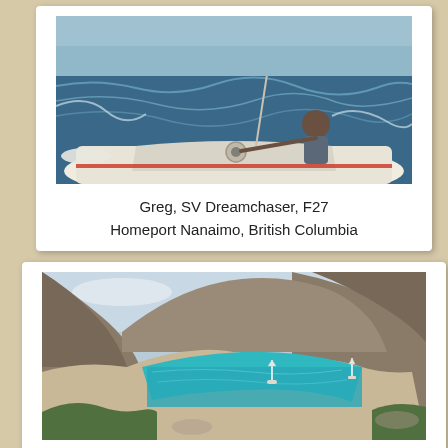[Figure (photo): Person sailing on a trimaran (F27) on open water with waves, viewed from cockpit]
Greg, SV Dreamchaser, F27
Homeport Nanaimo, British Columbia
[Figure (photo): Scenic bay with turquoise water, rocky hillsides, sandy beach, and sailboats at anchor — Agua Verde]
Good wind protection in Agua Verde
We stopped here going north and south on this trip.